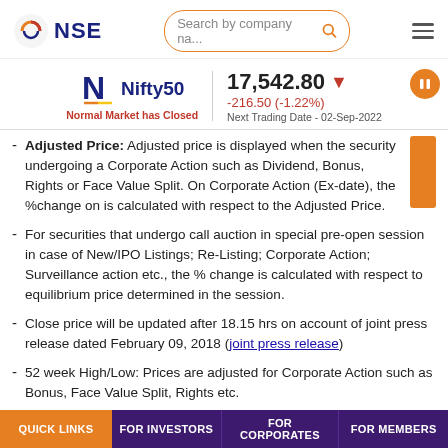NSE | Search by company na...
[Figure (screenshot): NSE Nifty50 ticker showing 17,542.80 down 216.50 (-1.22%), Normal Market has Closed, Next Trading Date - 02-Sep-2022]
Adjusted Price: Adjusted price is displayed when the security undergoing a Corporate Action such as Dividend, Bonus, Rights or Face Value Split. On Corporate Action (Ex-date), the %change on is calculated with respect to the Adjusted Price.
For securities that undergo call auction in special pre-open session in case of New/IPO Listings; Re-Listing; Corporate Action; Surveillance action etc., the % change is calculated with respect to equilibrium price determined in the session.
Close price will be updated after 18.15 hrs on account of joint press release dated February 09, 2018 (joint press release)
52 week High/Low: Prices are adjusted for Corporate Action such as Bonus, Face Value Split, Rights etc.
QUICK LINKS | FOR INVESTORS | FOR CORPORATES | FOR MEMBERS